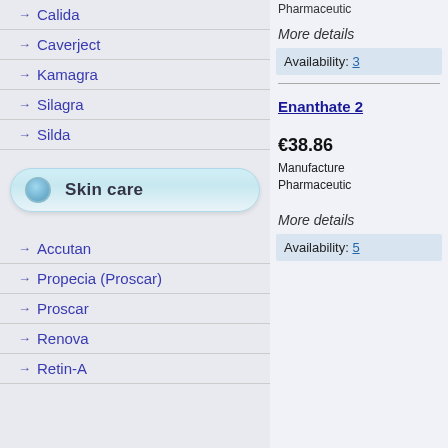Calida
Caverject
Kamagra
Silagra
Silda
Skin care
Accutan
Propecia (Proscar)
Proscar
Renova
Retin-A
Pharmaceutic
More details
Availability: 3
Enanthate 2
€38.86
Manufacturer Pharmaceutic
More details
Availability: 5